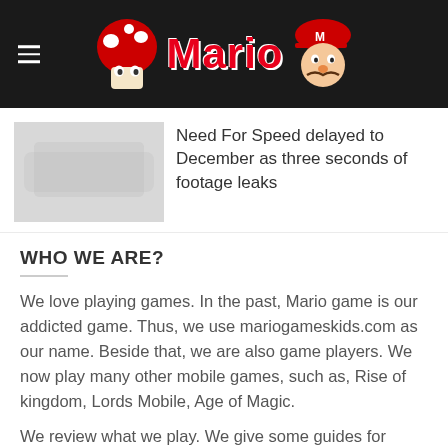Mario
Need For Speed delayed to December as three seconds of footage leaks
WHO WE ARE?
We love playing games. In the past, Mario game is our addicted game. Thus, we use mariogameskids.com as our name. Beside that, we are also game players. We now play many other mobile games, such as, Rise of kingdom, Lords Mobile, Age of Magic.
We review what we play. We give some guides for